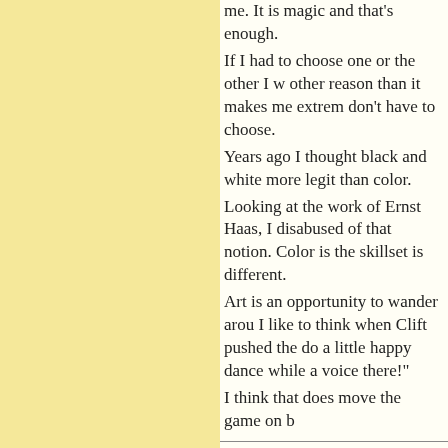me. It is magic and that's enough. If I had to choose one or the other I would choose color for no other reason than it makes me extremely happy. Luckily I don't have to choose. Years ago I thought black and white was somehow more legit than color. Looking at the work of Ernst Haas, I was quickly disabused of that notion. Color is just as legit, but the skillset is different. Art is an opportunity to wander around. I like to think when Clift pushed the button he got to do a little happy dance while a voice in his head shouted "I got there!" I think that does move the game on b
Posted by: mike plews | Saturday, 12 March 2011 at 12:
For iconic color images, you can loo color ever takes away from his photo